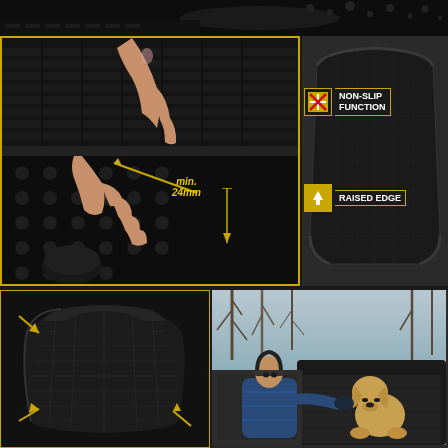[Figure (photo): Top strip showing close-up of rubber car mat with water droplets on dark background]
[Figure (photo): Close-up of hands pressing/testing rubber car floor mat with round studs and rectangular channels, showing minimum 24mm raised edge height with yellow annotation arrow]
[Figure (infographic): Car trunk liner/mat shown from above with NON-SLIP FUNCTION label featuring yellow snowflake-like icon in bordered box, and RAISED EDGE label with yellow upward arrow icon]
[Figure (photo): Standalone black rubber trunk mat/liner shown at angle with yellow diagonal arrows pointing to corners]
[Figure (photo): Man in blue winter jacket and beanie hat looking at a yellow Labrador dog sitting in the open trunk of a car, outdoor setting with bare trees]